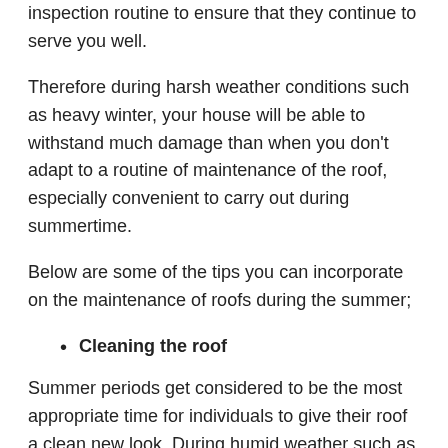inspection routine to ensure that they continue to serve you well.
Therefore during harsh weather conditions such as heavy winter, your house will be able to withstand much damage than when you don't adapt to a routine of maintenance of the roof, especially convenient to carry out during summertime.
Below are some of the tips you can incorporate on the maintenance of roofs during the summer;
Cleaning the roof
Summer periods get considered to be the most appropriate time for individuals to give their roof a clean new look. During humid weather such as winter and rain or spring, many roofs face heavy rain and shading that